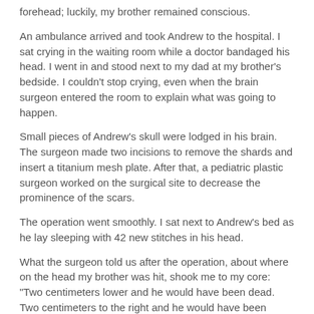forehead; luckily, my brother remained conscious.
An ambulance arrived and took Andrew to the hospital. I sat crying in the waiting room while a doctor bandaged his head. I went in and stood next to my dad at my brother's bedside. I couldn't stop crying, even when the brain surgeon entered the room to explain what was going to happen.
Small pieces of Andrew's skull were lodged in his brain. The surgeon made two incisions to remove the shards and insert a titanium mesh plate. After that, a pediatric plastic surgeon worked on the surgical site to decrease the prominence of the scars.
The operation went smoothly. I sat next to Andrew's bed as he lay sleeping with 42 new stitches in his head.
What the surgeon told us after the operation, about where on the head my brother was hit, shook me to my core: "Two centimeters lower and he would have been dead. Two centimeters to the right and he would have been dead."
This made me really think about life. It's strange to think in terms of its fragility. We're all two centimeters from death; we are close to death every moment we're breathing.
We, as college students, are at a point in our lives when our brains